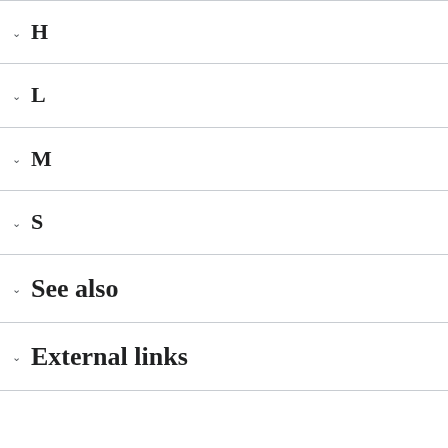H
L
M
S
See also
External links